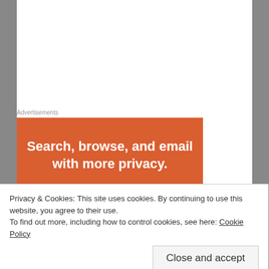Advertisements
[Figure (illustration): Orange advertisement banner with white bold text reading 'Search, browse, and email with more privacy.']
Hand walked away from the corpse but it was miles until he was free of its shadow.
Privacy & Cookies: This site uses cookies. By continuing to use this website, you agree to their use.
To find out more, including how to control cookies, see here: Cookie Policy
Close and accept
Hand fought the creature until his sword sank